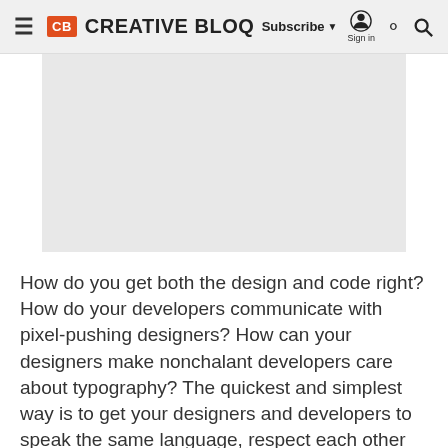CREATIVE BLOQ — Subscribe | Sign in
[Figure (other): Gray placeholder image block for article]
How do you get both the design and code right? How do your developers communicate with pixel-pushing designers? How can your designers make nonchalant developers care about typography? The quickest and simplest way is to get your designers and developers to speak the same language, respect each other for